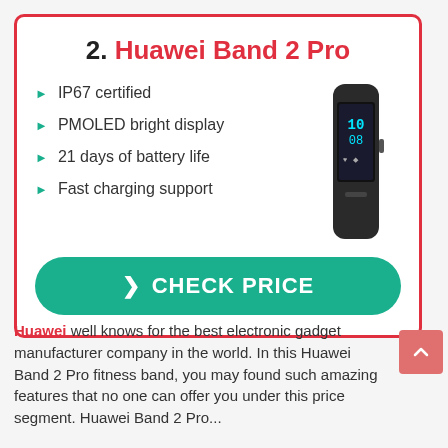2. Huawei Band 2 Pro
IP67 certified
PMOLED bright display
21 days of battery life
Fast charging support
[Figure (photo): Huawei Band 2 Pro fitness tracker device image]
CHECK PRICE
Huawei well knows for the best electronic gadget manufacturer company in the world. In this Huawei Band 2 Pro fitness band, you may found such amazing features that no one can offer you under this price segment. Huawei Band 2 Pro...